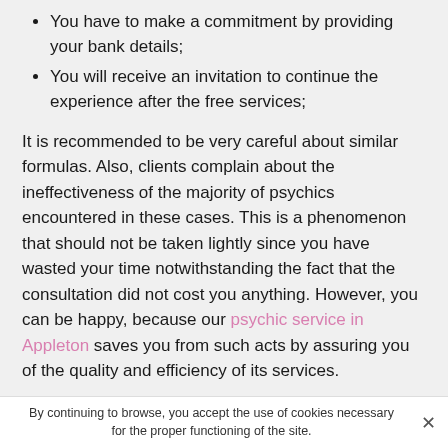You have to make a commitment by providing your bank details;
You will receive an invitation to continue the experience after the free services;
It is recommended to be very careful about similar formulas. Also, clients complain about the ineffectiveness of the majority of psychics encountered in these cases. This is a phenomenon that should not be taken lightly since you have wasted your time notwithstanding the fact that the consultation did not cost you anything. However, you can be happy, because our psychic service in Appleton saves you from such acts by assuring you of the quality and efficiency of its services.
If you are a bit of an airhead and are quickly fooled, you will be a perfect target for dreamy psychics or charlatans.
By continuing to browse, you accept the use of cookies necessary for the proper functioning of the site.